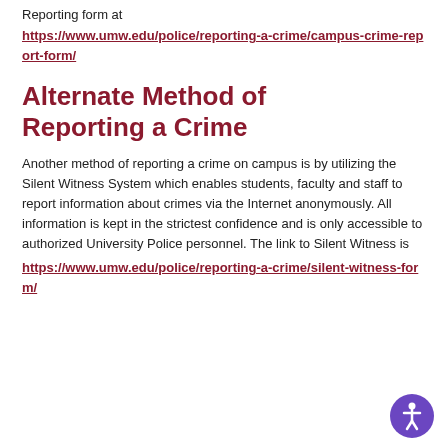Reporting form at
https://www.umw.edu/police/reporting-a-crime/campus-crime-report-form/
Alternate Method of Reporting a Crime
Another method of reporting a crime on campus is by utilizing the Silent Witness System which enables students, faculty and staff to report information about crimes via the Internet anonymously. All information is kept in the strictest confidence and is only accessible to authorized University Police personnel. The link to Silent Witness is
https://www.umw.edu/police/reporting-a-crime/silent-witness-form/
[Figure (illustration): Purple circular accessibility icon button with a person figure in white, positioned at bottom right corner]